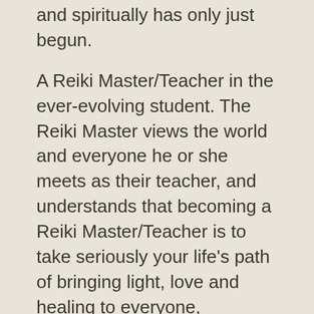and spiritually has only just begun.
A Reiki Master/Teacher in the ever-evolving student. The Reiki Master views the world and everyone he or she meets as their teacher, and understands that becoming a Reiki Master/Teacher is to take seriously your life's path of bringing light, love and healing to everyone, including people, animals and planet.
A Reiki Master sets aside ego and self, and works for the good of the whole.
Becoming a Reiki Master is a serious step. You should choose this path through the Divine guidance of quiet meditation, self-reflection and a knowing that Reiki is in harmony with